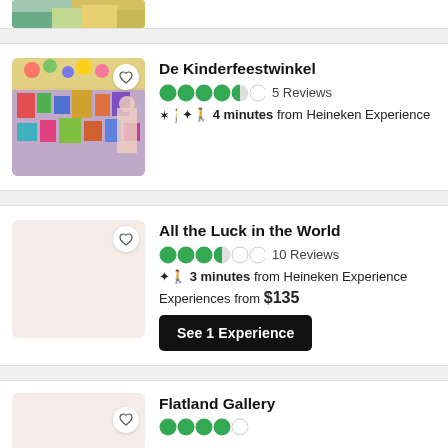[Figure (photo): Partial top image strip of a colorful scene, cropped at top of page]
De Kinderfeestwinkel — 4.5 stars, 5 Reviews — 4 minutes from Heineken Experience
[Figure (photo): Photo of De Kinderfeestwinkel interior: colorful toy/party store with decorations]
All the Luck in the World — 4 stars, 10 Reviews — 3 minutes from Heineken Experience — Experiences from $135 — See 1 Experience
[Figure (photo): Beige/blank placeholder image for All the Luck in the World]
Flatland Gallery